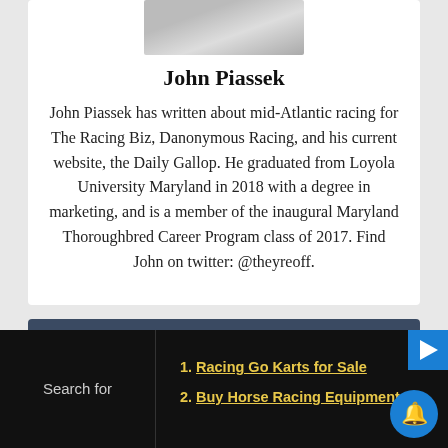[Figure (photo): Author photo of John Piassek, partially visible at top of card]
John Piassek
John Piassek has written about mid-Atlantic racing for The Racing Biz, Danonymous Racing, and his current website, the Daily Gallop. He graduated from Loyola University Maryland in 2018 with a degree in marketing, and is a member of the inaugural Maryland Thoroughbred Career Program class of 2017. Find John on twitter: @theyreoff.
WHAT'S HOT
Racing Go Karts for Sale
Buy Horse Racing Equipment
Search for